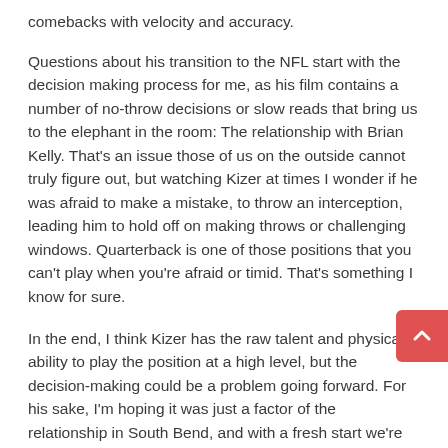comebacks with velocity and accuracy.
Questions about his transition to the NFL start with the decision making process for me, as his film contains a number of no-throw decisions or slow reads that bring us to the elephant in the room: The relationship with Brian Kelly. That's an issue those of us on the outside cannot truly figure out, but watching Kizer at times I wonder if he was afraid to make a mistake, to throw an interception, leading him to hold off on making throws or challenging windows. Quarterback is one of those positions that you can't play when you're afraid or timid. That's something I know for sure.
In the end, I think Kizer has the raw talent and physical ability to play the position at a high level, but the decision-making could be a problem going forward. For his sake, I'm hoping it was just a factor of the relationship in South Bend, and with a fresh start we're going to see more of the 2015 Kizer. Only time will tell.
Scheme Fit: